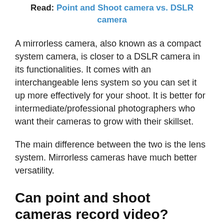Read: Point and Shoot camera vs. DSLR camera
A mirrorless camera, also known as a compact system camera, is closer to a DSLR camera in its functionalities. It comes with an interchangeable lens system so you can set it up more effectively for your shoot. It is better for intermediate/professional photographers who want their cameras to grow with their skillset.
The main difference between the two is the lens system. Mirrorless cameras have much better versatility.
Can point and shoot cameras record video?